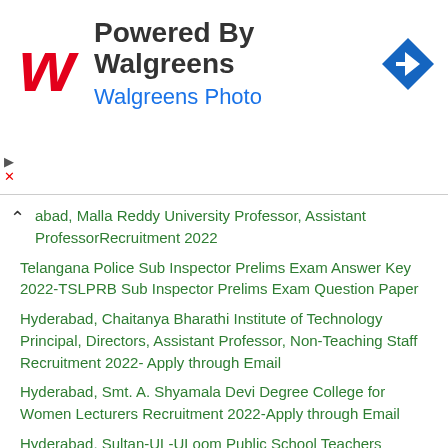[Figure (other): Walgreens advertisement banner with Walgreens logo, 'Powered By Walgreens' title, 'Walgreens Photo' subtitle, and a blue navigation arrow icon]
abad, Malla Reddy University Professor, Assistant ProfessorRecruitment 2022
Telangana Police Sub Inspector Prelims Exam Answer Key 2022-TSLPRB Sub Inspector Prelims Exam Question Paper
Hyderabad, Chaitanya Bharathi Institute of Technology Principal, Directors, Assistant Professor, Non-Teaching Staff Recruitment 2022- Apply through Email
Hyderabad, Smt. A. Shyamala Devi Degree College for Women Lecturers Recruitment 2022-Apply through Email
Hyderabad, Sultan-UL-ULoom Public School Teachers Recruitment 2022-Apply through Email
Hyderabad, Deepthi Degree & PG College...